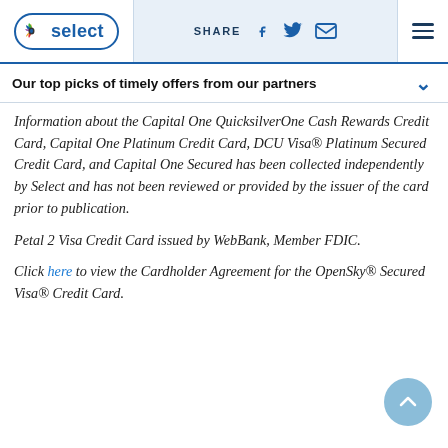NBC Select | SHARE [social icons] [menu]
Our top picks of timely offers from our partners
Information about the Capital One QuicksilverOne Cash Rewards Credit Card, Capital One Platinum Credit Card, DCU Visa® Platinum Secured Credit Card, and Capital One Secured has been collected independently by Select and has not been reviewed or provided by the issuer of the card prior to publication.
Petal 2 Visa Credit Card issued by WebBank, Member FDIC.
Click here to view the Cardholder Agreement for the OpenSky® Secured Visa® Credit Card.